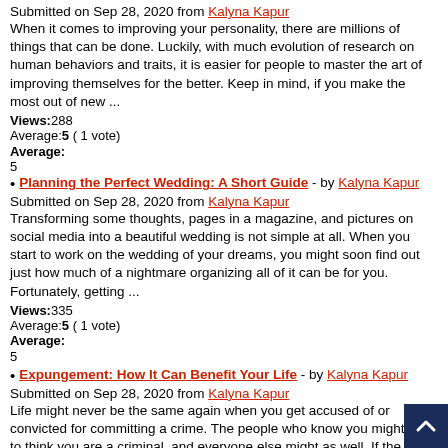Your Personality - by Kalyna Kapur
Submitted on Sep 28, 2020 from Kalyna Kapur
When it comes to improving your personality, there are millions of things that can be done. Luckily, with much evolution of research on human behaviors and traits, it is easier for people to master the art of improving themselves for the better. Keep in mind, if you make the most out of new ...
Views:288
Average:5 ( 1 vote)
Average:
5
Planning the Perfect Wedding: A Short Guide - by Kalyna Kapur
Submitted on Sep 28, 2020 from Kalyna Kapur
Transforming some thoughts, pages in a magazine, and pictures on social media into a beautiful wedding is not simple at all. When you start to work on the wedding of your dreams, you might soon find out just how much of a nightmare organizing all of it can be for you. Fortunately, getting ...
Views:335
Average:5 ( 1 vote)
Average:
5
Expungement: How It Can Benefit Your Life - by Kalyna Kapur
Submitted on Sep 28, 2020 from Kalyna Kapur
Life might never be the same again when you get accused of or convicted for committing a crime. The people who know you might start to think you are a criminal, and everyone else might as well. If the charge is serious, then you might always be recognized as the guy who did that thing even if ...
Views:222